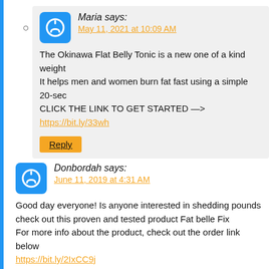Maria says: May 11, 2021 at 10:09 AM
The Okinawa Flat Belly Tonic is a new one of a kind weight It helps men and women burn fat fast using a simple 20-sec CLICK THE LINK TO GET STARTED —> https://bit.ly/33wh
Donbordah says: June 11, 2019 at 4:31 AM
Good day everyone! Is anyone interested in shedding pounds check out this proven and tested product Fat belle Fix
For more info about the product, check out the order link below
https://bit.ly/2IxCC9j